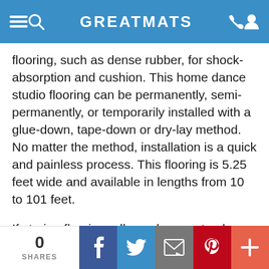GREATMATS
flooring, such as dense rubber, for shock-absorption and cushion. This home dance studio flooring can be permanently, semi-permanently, or temporarily installed with a glue-down, tape-down or dry-lay method. No matter the method, installation is a quick and painless process. This flooring is 5.25 feet wide and available in lengths from 10 to 101 feet.
If storing flooring rolls, make sure to always keep in an upright position or hanging, as rolls can flatten and ripple when left on its side.
0 SHARES | Facebook | Twitter | Email | Pinterest | More